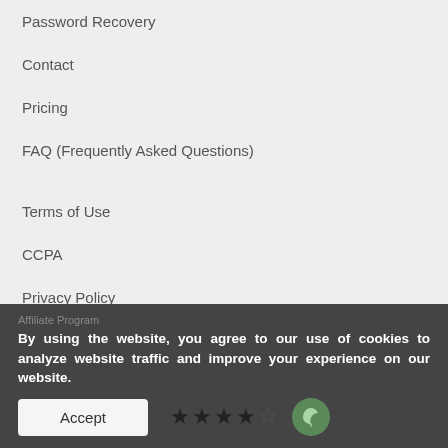Password Recovery
Contact
Pricing
FAQ (Frequently Asked Questions)
Terms of Use
CCPA
Privacy Policy
Affiliate Program
By using the website, you agree to our use of cookies to analyze website traffic and improve your experience on our website.
Accept